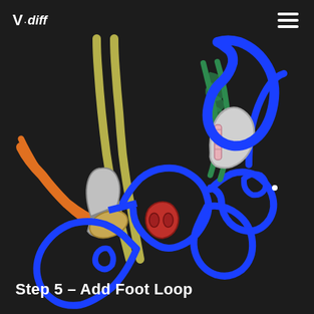V.Diff
[Figure (illustration): A detailed illustrated diagram showing climbing equipment including blue ropes tied in knots, carabiners (grey/silver, pink-striped), a red device (belay device), orange sling, yellow-green webbing sling, and green cord/sling, all interconnected in a complex rigging setup against a dark background. This is Step 5 of a climbing instruction guide showing how to add a foot loop.]
Step 5 – Add Foot Loop